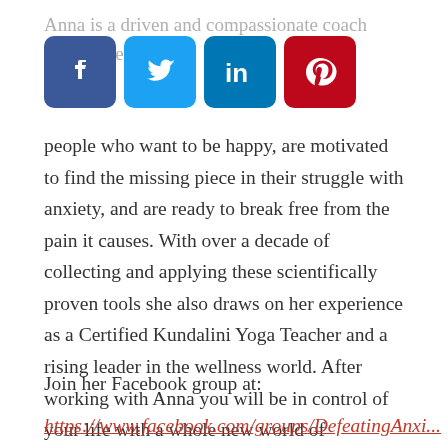Anna is a driven and compassionate coach helping pe... with people who want to be happy, are motivated to find the missing piece in their struggle with anxiety, and are ready to break free from the pain it causes. With over a decade of collecting and applying these scientifically proven tools she also draws on her experience as a Certified Kundalini Yoga Teacher and a rising leader in the wellness world. After working with Anna you will be in control of your life with a whole new world of possibility in front of you.
[Figure (infographic): Social sharing buttons: Facebook (blue), Twitter (light blue), LinkedIn (dark blue), Pinterest (red)]
Join her Facebook group at:
https://www.facebook.com/groups/DefeatingAnxi...